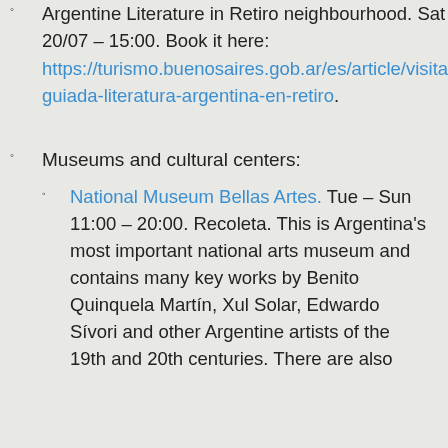Argentine Literature in Retiro neighbourhood. Sat 20/07 – 15:00. Book it here: https://turismo.buenosaires.gob.ar/es/article/visita-guiada-literatura-argentina-en-retiro.
Museums and cultural centers:
National Museum Bellas Artes. Tue – Sun 11:00 – 20:00. Recoleta. This is Argentina's most important national arts museum and contains many key works by Benito Quinquela Martín, Xul Solar, Edwardo Sívori and other Argentine artists of the 19th and 20th centuries. There are also